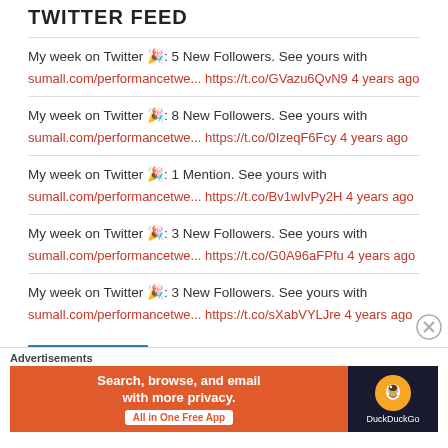TWITTER FEED
My week on Twitter 🎉: 5 New Followers. See yours with sumall.com/performancetwe... https://t.co/GVazu6QvN9 4 years ago
My week on Twitter 🎉: 8 New Followers. See yours with sumall.com/performancetwe... https://t.co/0IzeqF6Fcy 4 years ago
My week on Twitter 🎉: 1 Mention. See yours with sumall.com/performancetwe... https://t.co/Bv1wIvPy2H 4 years ago
My week on Twitter 🎉: 3 New Followers. See yours with sumall.com/performancetwe... https://t.co/G0A96aFPfu 4 years ago
My week on Twitter 🎉: 3 New Followers. See yours with sumall.com/performancetwe... https://t.co/sXabVYLJre 4 years ago
Advertisements
[Figure (infographic): DuckDuckGo advertisement banner: orange section with 'Search, browse, and email with more privacy. All in One Free App' and dark section with DuckDuckGo logo]